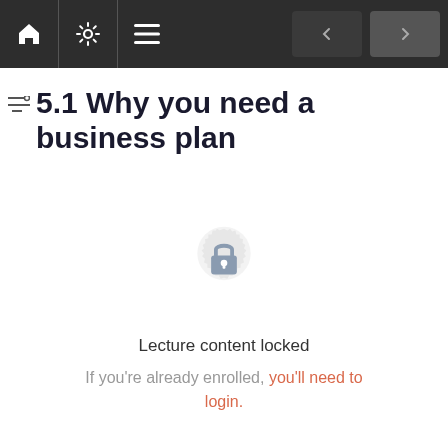Navigation bar with home, settings, menu icons and previous/next buttons
5.1 Why you need a business plan
[Figure (illustration): A lock icon centered on a decorative circular badge, indicating locked content]
Lecture content locked
If you're already enrolled, you'll need to login.